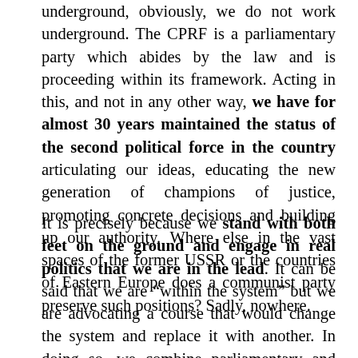underground, obviously, we do not work underground. The CPRF is a parliamentary party which abides by the law and is proceeding within its framework. Acting in this, and not in any other way, we have for almost 30 years maintained the status of the second political force in the country articulating our ideas, educating the new generation of champions of justice, promoting concrete decisions and building up our authority. Where else in the vast spaces of the former USSR or the countries of Eastern Europe does a communist party preserve such positions? Sadly, nowhere.
It is precisely because we stand with both feet on the ground and engage in real politics that we are in the lead. It can be said that we are “within the system” but we are advocating a course that would change the system and replace it with another. In doing so, we combine parliamentary and non-parliamentary forms of work assessing the situation in a cool-headed way and deciding